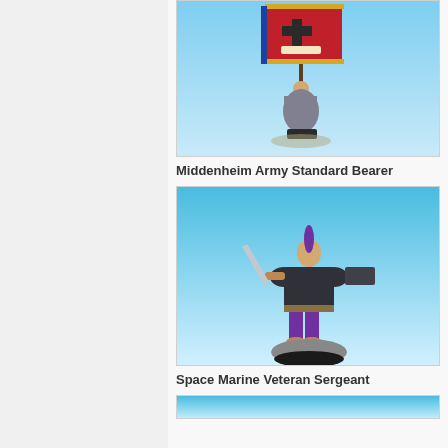[Figure (photo): Painted miniature figure of Middenheim Army Standard Bearer holding a banner with a black Maltese cross on red background, on a sky blue background]
Middenheim Army Standard Bearer
[Figure (photo): Painted miniature figure of Space Marine Veteran Sergeant with purple mohawk hair, sword, and gun, on a sky blue background]
Space Marine Veteran Sergeant
[Figure (photo): Partially visible miniature figure at the bottom of the page, sky blue background]